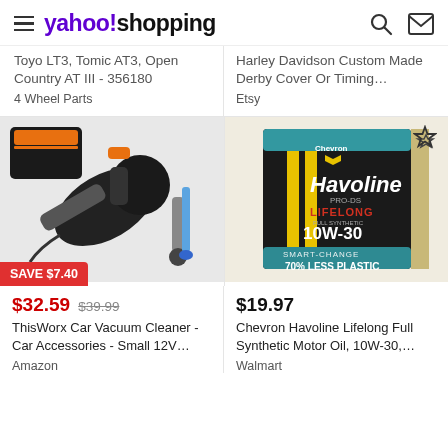yahoo!shopping
Toyo LT3, Tomic AT3, Open Country AT III - 356180
4 Wheel Parts
Harley Davidson Custom Made Derby Cover Or Timing...
Etsy
[Figure (photo): ThisWorx car vacuum cleaner with accessories and carrying case. Black handheld vacuum with hoses and brushes.]
SAVE $7.40
$32.59  $39.99
ThisWorx Car Vacuum Cleaner - Car Accessories - Small 12V...
Amazon
[Figure (photo): Chevron Havoline PRO-DS Lifelong Full Synthetic Motor Oil 10W-30, 6 quart box. 70% Less Plastic packaging.]
$19.97
Chevron Havoline Lifelong Full Synthetic Motor Oil, 10W-30,...
Walmart